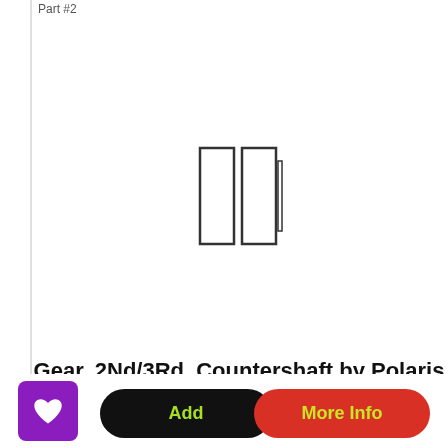Part #2
[Figure (illustration): Two vertical rectangular boxes side by side, representing a product image placeholder for the Gear, 2Nd/3Rd, Countershaft part.]
Gear, 2Nd/3Rd, Countershaft by Polaris
Replace your Gear, 2Nd/3Rd, Countershaft on your Victory motorcycle with genuine OEM Victory Polaris parts...
SKU: 6230497